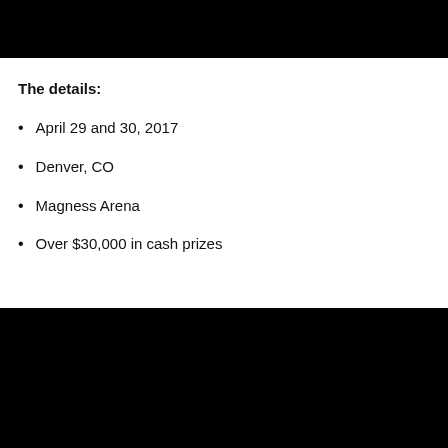[Figure (photo): Black rectangle at top of page (image content obscured/black)]
The details:
April 29 and 30, 2017
Denver, CO
Magness Arena
Over $30,000 in cash prizes
[Figure (photo): Black rectangle at bottom of page (image content obscured/black)]